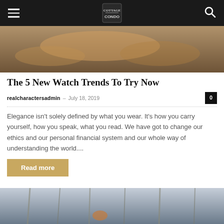realcharacters [logo] [hamburger menu] [search icon]
[Figure (photo): Food photograph showing baked/fried food items on a plate, dark background, top portion of article card]
The 5 New Watch Trends To Try Now
realcharacters admin – July 18, 2019  0
Elegance isn't solely defined by what you wear. It's how you carry yourself, how you speak, what you read. We have got to change our ethics and our personal financial system and our whole way of understanding the world....
Read more
[Figure (photo): Winter forest scene with bare trees and a figure, bluish-gray tones]